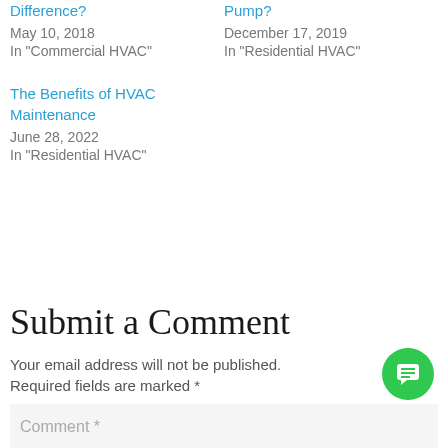Difference?
May 10, 2018
In "Commercial HVAC"
Pump?
December 17, 2019
In "Residential HVAC"
The Benefits of HVAC Maintenance
June 28, 2022
In "Residential HVAC"
Submit a Comment
Your email address will not be published.
Required fields are marked *
Comment *